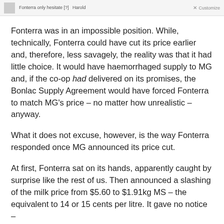Fonterra only hesitate [?] ... Customize
Fonterra was in an impossible position. While, technically, Fonterra could have cut its price earlier and, therefore, less savagely, the reality was that it had little choice. It would have haemorrhaged supply to MG and, if the co-op had delivered on its promises, the Bonlac Supply Agreement would have forced Fonterra to match MG’s price – no matter how unrealistic – anyway.
What it does not excuse, however, is the way Fonterra responded once MG announced its price cut.
At first, Fonterra sat on its hands, apparently caught by surprise like the rest of us. Then announced a slashing of the milk price from $5.60 to $1.91kg MS – the equivalent to 14 or 15 cents per litre. It gave no notice –